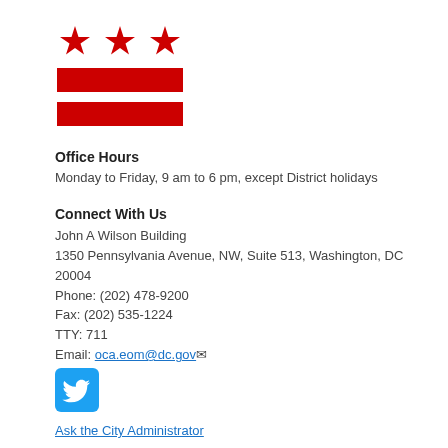[Figure (logo): DC Government logo: three red stars above two red horizontal bars on white background]
Office Hours
Monday to Friday, 9 am to 6 pm, except District holidays
Connect With Us
John A Wilson Building
1350 Pennsylvania Avenue, NW, Suite 513, Washington, DC 20004
Phone: (202) 478-9200
Fax: (202) 535-1224
TTY: 711
Email: oca.eom@dc.gov
[Figure (logo): Twitter bird icon in blue rounded square]
Ask the City Administrator
Agency Performance